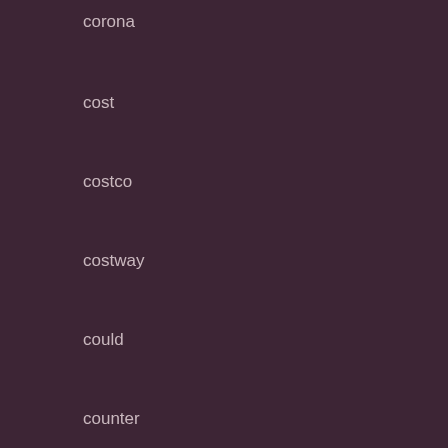corona
cost
costco
costway
could
counter
country
cover
crafts
crazy
credit
cube
curio